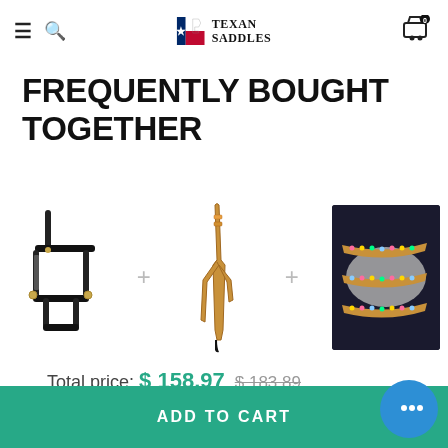Texan Saddles — navigation header with hamburger menu, search icon, logo, and cart (0 items)
FREQUENTLY BOUGHT TOGETHER
[Figure (photo): Three equestrian product photos: a black horse halter, a tan leather single-ear headstall, and a decorated rainbow-bling headstall on black background, separated by plus signs]
Total price: $ 158.97  $ 183.89
ADD TO CART